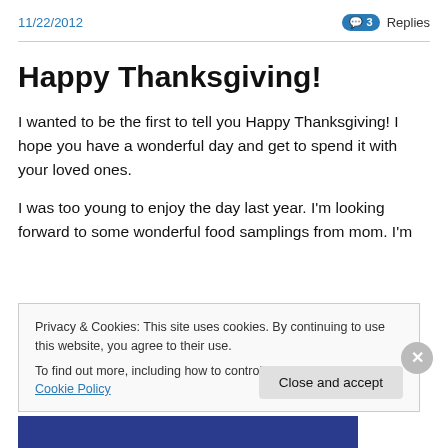11/22/2012    💬 3 Replies
Happy Thanksgiving!
I wanted to be the first to tell you Happy Thanksgiving! I hope you have a wonderful day and get to spend it with your loved ones.
I was too young to enjoy the day last year. I'm looking forward to some wonderful food samplings from mom. I'm
Privacy & Cookies: This site uses cookies. By continuing to use this website, you agree to their use.
To find out more, including how to control cookies, see here: Cookie Policy